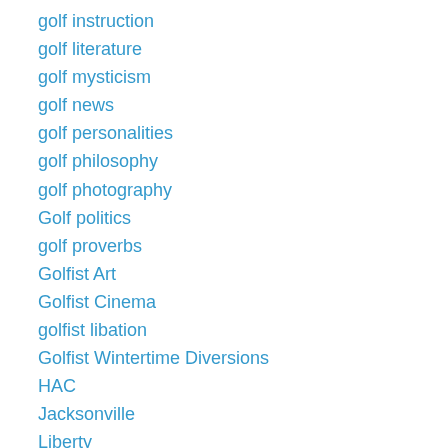golf instruction
golf literature
golf mysticism
golf news
golf personalities
golf philosophy
golf photography
Golf politics
golf proverbs
Golfist Art
Golfist Cinema
golfist libation
Golfist Wintertime Diversions
HAC
Jacksonville
Liberty
My Bidness
my golf
NaNoWriMo
Naturalism